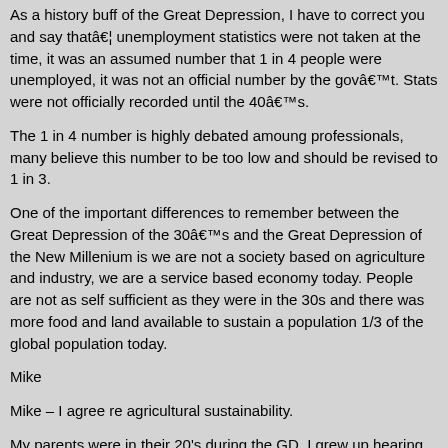As a history buff of the Great Depression, I have to correct you and say thatâ€¦ unemployment statistics were not taken at the time, it was an assumed number that 1 in 4 people were unemployed, it was not an official number by the govâ€™t. Stats were not officially recorded until the 40â€™s.
The 1 in 4 number is highly debated amoung professionals, many believe this number to be too low and should be revised to 1 in 3.
One of the important differences to remember between the Great Depression of the 30â€™s and the Great Depression of the New Millenium is we are not a society based on agriculture and industry, we are a service based economy today. People are not as self sufficient as they were in the 30s and there was more food and land available to sustain a population 1/3 of the global population today.
Mike
Mike – I agree re agricultural sustainability.
My parents were in their 20's during the GD. I grew up hearing about how mothers would sell their bodies for a loaf of bread to feed their children. My mom was one of the lucky ones & mostly shielded from the devastation. My father, a new immigrant, was not. He & a few buddies